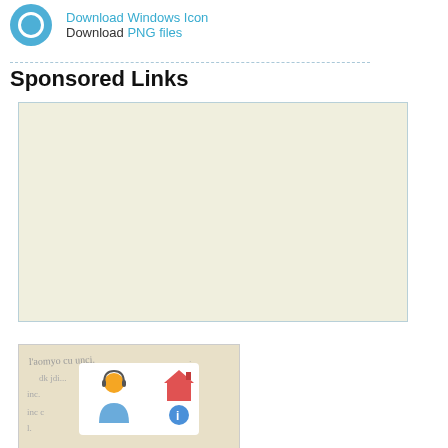Download Windows Icon
Download PNG files
Sponsored Links
[Figure (other): Large advertisement box with beige/cream background]
[Figure (illustration): Thumbnail card showing handwritten text background with a white overlay containing a customer service person icon and a house with info icon]